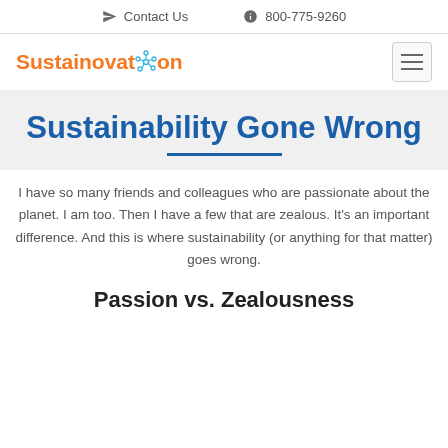Contact Us   800-775-9260
[Figure (logo): Sustainovation logo with orange text and teal network icon]
Sustainability Gone Wrong
I have so many friends and colleagues who are passionate about the planet. I am too. Then I have a few that are zealous. It's an important difference. And this is where sustainability (or anything for that matter) goes wrong.
Passion vs. Zealousness